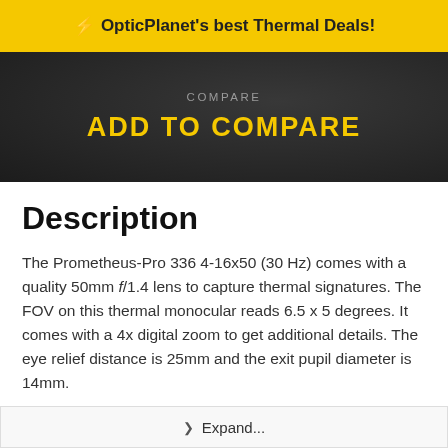⚡ OpticPlanet's best Thermal Deals!
ADD TO COMPARE
Description
The Prometheus-Pro 336 4-16x50 (30 Hz) comes with a quality 50mm f/1.4 lens to capture thermal signatures. The FOV on this thermal monocular reads 6.5 x 5 degrees. It comes with a 4x digital zoom to get additional details. The eye relief distance is 25mm and the exit pupil diameter is 14mm.
Inside the housing of the Prometheus-Pro 336 4-16x50 (30
❯ Expand...